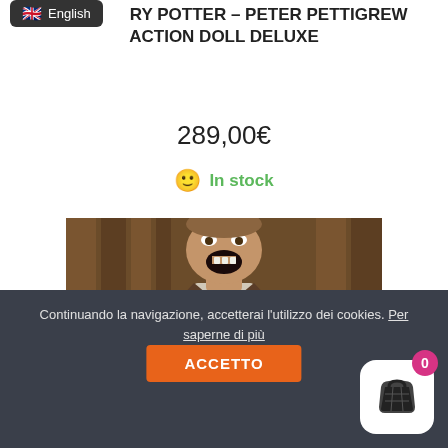English (language selector badge)
STAR... RY POTTER – PETER PETTIGREW ACTION DOLL DELUXE
289,00€
In stock
[Figure (photo): Photo of Peter Pettigrew character (man in brown coat, open mouth, screaming expression) from Harry Potter]
Continuando la navigazione, accetterai l'utilizzo dei cookies. Per saperne di più ACCETTO
[Figure (other): Shopping cart icon with badge showing count 0]